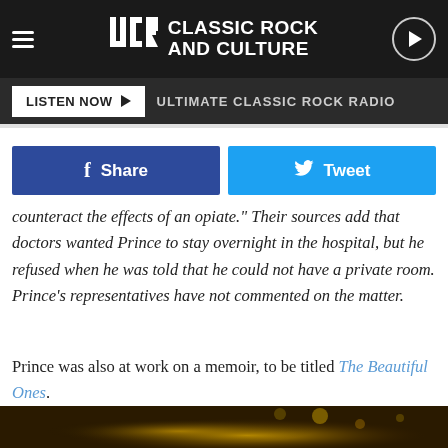UCR Classic Rock and Culture | LISTEN NOW - ULTIMATE CLASSIC ROCK RADIO
[Figure (screenshot): Social share buttons: blue Facebook Share button and cyan Twitter Tweet button]
counteract the effects of an opiate." Their sources add that doctors wanted Prince to stay overnight in the hospital, but he refused when he was told that he could not have a private room. Prince's representatives have not commented on the matter.
Prince was also at work on a memoir, to be titled The Beautiful Ones.
Rockers We've Lost in 2016
[Figure (photo): Bottom strip showing a performer on stage with warm golden lighting]